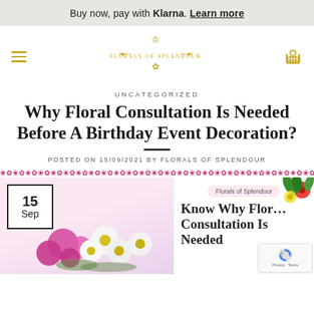Buy now, pay with Klarna. Learn more
[Figure (logo): Florals of Splendour logo with ornamental gold design and text]
UNCATEGORIZED
Why Floral Consultation Is Needed Before A Birthday Event Decoration?
POSTED ON 15/09/2021 BY FLORALS OF SPLENDOUR
[Figure (photo): Blog post preview image showing a floral arrangement with pink roses and white daisies, date badge showing 15 Sep, and article card with title 'Know Why Floral Consultation Is Needed']